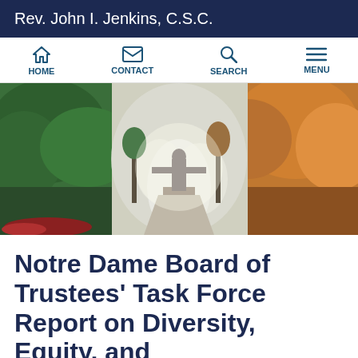Rev. John I. Jenkins, C.S.C.
[Figure (other): Navigation bar with HOME, CONTACT, SEARCH, MENU icons]
[Figure (photo): Outdoor campus photo of a statue (Sacred Heart) with trees and misty light, autumn foliage on the right side]
Notre Dame Board of Trustees' Task Force Report on Diversity, Equity, and